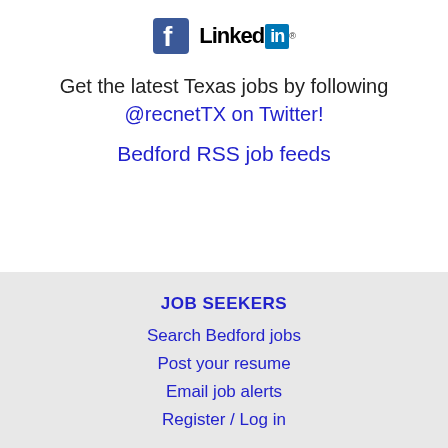[Figure (logo): Facebook logo icon and LinkedIn logo side by side]
Get the latest Texas jobs by following @recnetTX on Twitter!
Bedford RSS job feeds
JOB SEEKERS
Search Bedford jobs
Post your resume
Email job alerts
Register / Log in